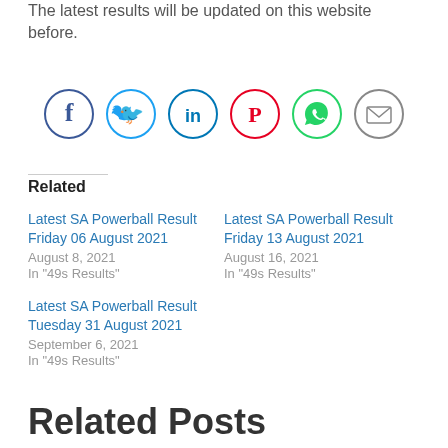The latest results will be updated on this website before.
[Figure (infographic): Six social media sharing icons in circles: Facebook (dark blue), Twitter (light blue), LinkedIn (dark blue/teal), Pinterest (red), WhatsApp (green), Email (gray)]
Related
Latest SA Powerball Result Friday 06 August 2021
August 8, 2021
In "49s Results"
Latest SA Powerball Result Friday 13 August 2021
August 16, 2021
In "49s Results"
Latest SA Powerball Result Tuesday 31 August 2021
September 6, 2021
In "49s Results"
Related Posts